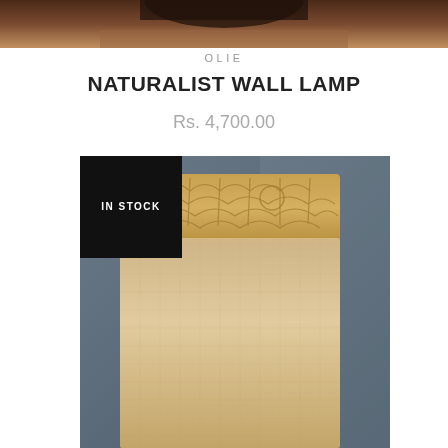[Figure (photo): Top portion of a wall lamp product photo, showing warm brown tones at the top of the page]
OLIE
NATURALIST WALL LAMP
Rs. 4,700.00
[Figure (photo): Close-up product photo of a naturalist wall lamp with a beige fabric shade and a wooden base carved with leaf/botanical patterns, displayed against a dark grey wall. An 'IN STOCK' badge appears in the top-left corner of the image.]